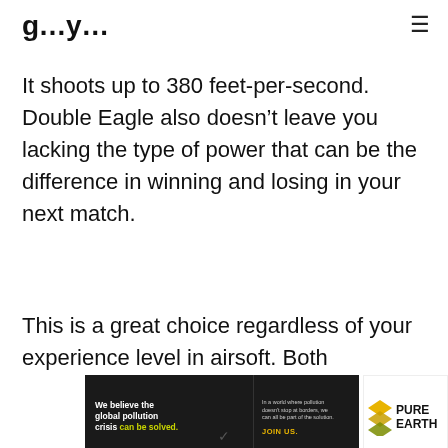≡
g…y…
It shoots up to 380 feet-per-second. Double Eagle also doesn't leave you lacking the type of power that can be the difference in winning and losing in your next match.
This is a great choice regardless of your experience level in airsoft. Both
[Figure (infographic): Pure Earth advertisement banner: black background with text 'We believe the global pollution crisis can be solved.' and 'In a world where pollution doesn't stop at borders, we can all be part of the solution. JOIN US.' with Pure Earth logo (diamond shapes) and bold PURE EARTH text.]